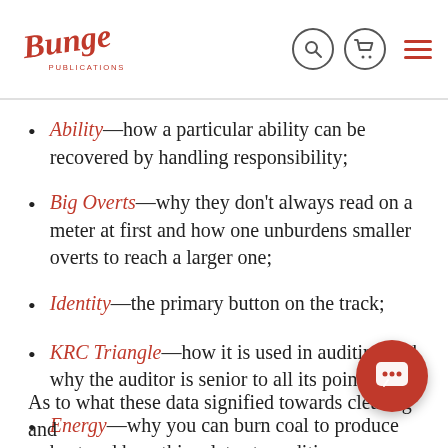Binge Publications — navigation header
Ability—how a particular ability can be recovered by handling responsibility;
Big Overts—why they don't always read on a meter at first and how one unburdens smaller overts to reach a larger one;
Identity—the primary button on the track;
KRC Triangle—how it is used in auditing and why the auditor is senior to all its points;
Energy—why you can burn coal to produce heat and how this relates to auditing.
As to what these data signified towards clearing and